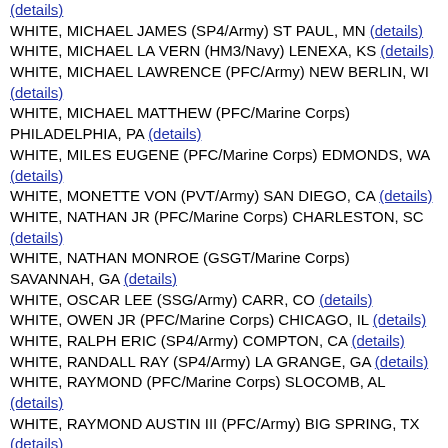(details)
WHITE, MICHAEL JAMES (SP4/Army) ST PAUL, MN (details)
WHITE, MICHAEL LA VERN (HM3/Navy) LENEXA, KS (details)
WHITE, MICHAEL LAWRENCE (PFC/Army) NEW BERLIN, WI (details)
WHITE, MICHAEL MATTHEW (PFC/Marine Corps) PHILADELPHIA, PA (details)
WHITE, MILES EUGENE (PFC/Marine Corps) EDMONDS, WA (details)
WHITE, MONETTE VON (PVT/Army) SAN DIEGO, CA (details)
WHITE, NATHAN JR (PFC/Marine Corps) CHARLESTON, SC (details)
WHITE, NATHAN MONROE (GSGT/Marine Corps) SAVANNAH, GA (details)
WHITE, OSCAR LEE (SSG/Army) CARR, CO (details)
WHITE, OWEN JR (PFC/Marine Corps) CHICAGO, IL (details)
WHITE, RALPH ERIC (SP4/Army) COMPTON, CA (details)
WHITE, RANDALL RAY (SP4/Army) LA GRANGE, GA (details)
WHITE, RAYMOND (PFC/Marine Corps) SLOCOMB, AL (details)
WHITE, RAYMOND AUSTIN III (PFC/Army) BIG SPRING, TX (details)